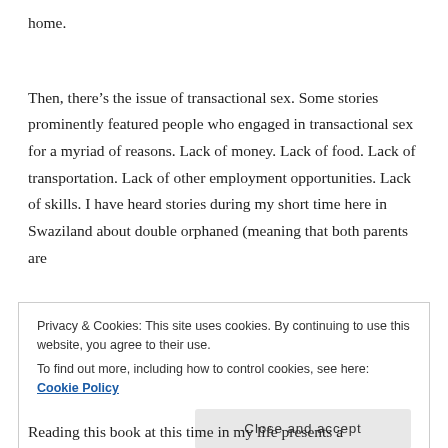home.
Then, there’s the issue of transactional sex. Some stories prominently featured people who engaged in transactional sex for a myriad of reasons. Lack of money. Lack of food. Lack of transportation. Lack of other employment opportunities. Lack of skills. I have heard stories during my short time here in Swaziland about double orphaned (meaning that both parents are
Privacy & Cookies: This site uses cookies. By continuing to use this website, you agree to their use.
To find out more, including how to control cookies, see here: Cookie Policy
Close and accept
Reading this book at this time in my life presents a